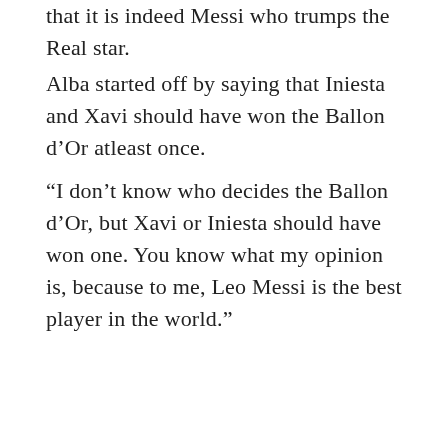that it is indeed Messi who trumps the Real star.
Alba started off by saying that Iniesta and Xavi should have won the Ballon d’Or atleast once.
“I don’t know who decides the Ballon d’Or, but Xavi or Iniesta should have won one. You know what my opinion is, because to me, Leo Messi is the best player in the world.”